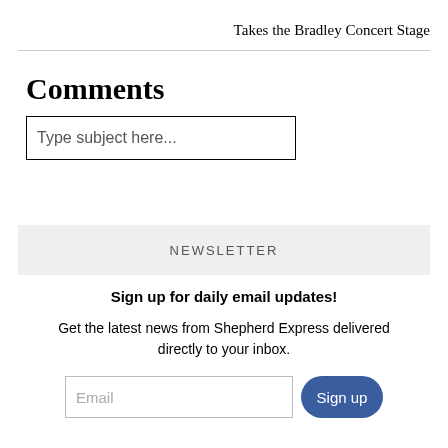Takes the Bradley Concert Stage
Comments
Type subject here...
NEWSLETTER
Sign up for daily email updates!
Get the latest news from Shepherd Express delivered directly to your inbox.
Email  Sign up